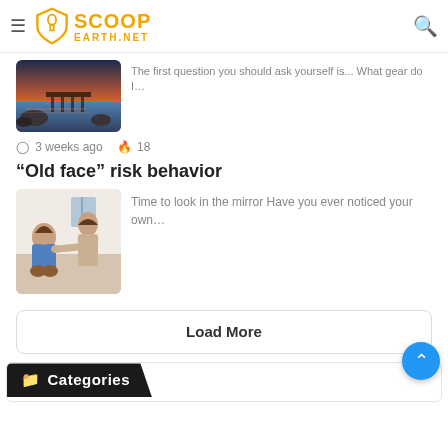ScoopEarth.net
What Gear Do You Need For Night
The first question you should ask yourself is... What gear do I…
3 weeks ago  18
“Old face” risk behavior
Time to look in the mirror Have you ever noticed your own…
Load More
Categories